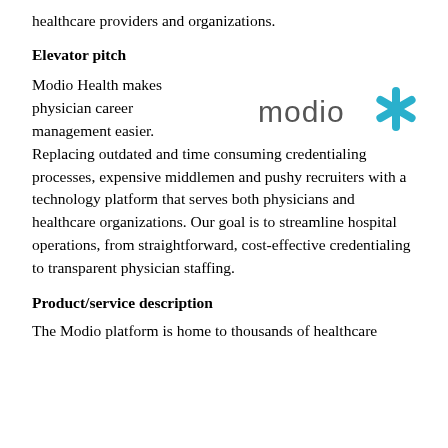healthcare providers and organizations.
Elevator pitch
Modio Health makes physician career management easier. Replacing outdated and time consuming credentialing processes, expensive middlemen and pushy recruiters with a technology platform that serves both physicians and healthcare organizations. Our goal is to streamline hospital operations, from straightforward, cost-effective credentialing to transparent physician staffing.
[Figure (logo): Modio Health logo — the word 'modio' in grey lowercase letters followed by a teal/blue asterisk-style snowflake icon]
Product/service description
The Modio platform is home to thousands of healthcare